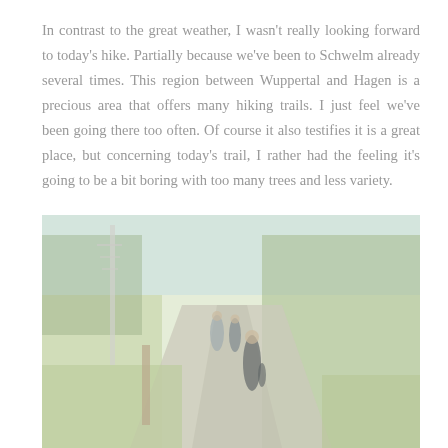In contrast to the great weather, I wasn't really looking forward to today's hike. Partially because we've been to Schwelm already several times. This region between Wuppertal and Hagen is a precious area that offers many hiking trails. I just feel we've been going there too often. Of course it also testifies it is a great place, but concerning today's trail, I rather had the feeling it's going to be a bit boring with too many trees and less variety.
[Figure (photo): Three people walking along a narrow paved path flanked by green grass and trees on a sunny day. A tall utility pole/tower is visible on the left side. The image has a washed-out, faded look.]